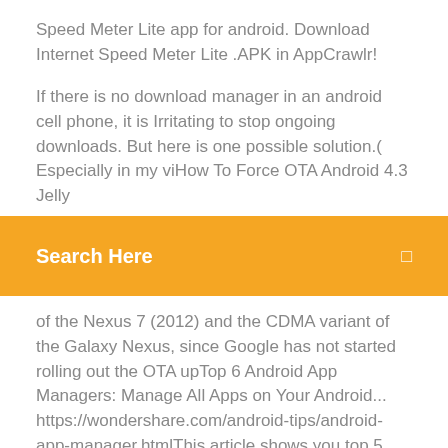Speed Meter Lite app for android. Download Internet Speed Meter Lite .APK in AppCrawlr!
If there is no download manager in an android cell phone, it is Irritating to stop ongoing downloads. But here is one possible solution.( Especially in my viHow To Force OTA Android 4.3 Jelly
Search Here
of the Nexus 7 (2012) and the CDMA variant of the Galaxy Nexus, since Google has not started rolling out the OTA upTop 6 Android App Managers: Manage All Apps on Your Android... https://wondershare.com/android-tips/android-app-manager.htmlThis article shows you top 5 Android app managers and how to manage them with a desktop app manager for Android. Home of Android Cracks and Hacks. The largest Android hacking community. The development of Android started in 2003 by Android, Inc., which was purchased by Google in 2005. The company then went on to produce a touch